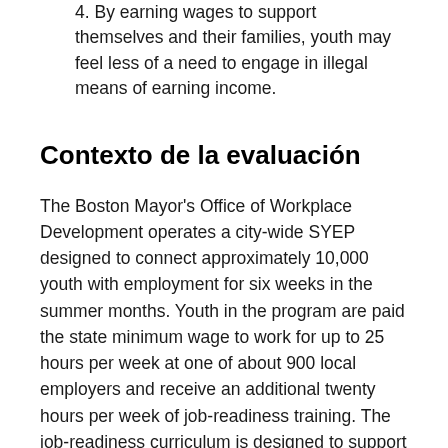4. By earning wages to support themselves and their families, youth may feel less of a need to engage in illegal means of earning income.
Contexto de la evaluación
The Boston Mayor's Office of Workplace Development operates a city-wide SYEP designed to connect approximately 10,000 youth with employment for six weeks in the summer months. Youth in the program are paid the state minimum wage to work for up to 25 hours per week at one of about 900 local employers and receive an additional twenty hours per week of job-readiness training. The job-readiness curriculum is designed to support youth with both practical job skills (e.g., resume and cover letters) and “soft” skills such as conflict resolution and communication. Employers are a